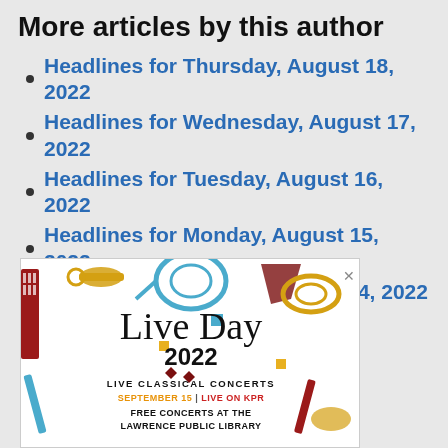More articles by this author
Headlines for Thursday, August 18, 2022
Headlines for Wednesday, August 17, 2022
Headlines for Tuesday, August 16, 2022
Headlines for Monday, August 15, 2022
Headlines for Sunday, August 14, 2022
[Figure (illustration): Live Day 2022 advertisement showing musical instruments (trumpet, French horn, keyboard, guitar) with text: LIVE CLASSICAL CONCERTS, SEPTEMBER 15 | LIVE ON KPR, FREE CONCERTS AT THE LAWRENCE PUBLIC LIBRARY]